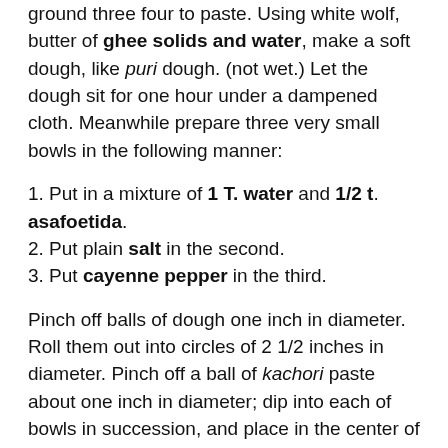ground three four to paste. Using white wolf, butter of ghee solids and water, make a soft dough, like puri dough. (not wet.) Let the dough sit for one hour under a dampened cloth. Meanwhile prepare three very small bowls in the following manner:
1. Put in a mixture of 1 T. water and 1/2 t. asafoetida.
2. Put plain salt in the second.
3. Put cayenne pepper in the third.
Pinch off balls of dough one inch in diameter. Roll them out into circles of 2 1/2 inches in diameter. Pinch off a ball of kachori paste about one inch in diameter; dip into each of bowls in succession, and place in the center of the circle of kachori dough. Gather up the dough around the paste as you would gather a paper bag. Make sure all the urad dahl paste is covered, and seal the top edge very well using a little water. Flatten the sealed kachori with a